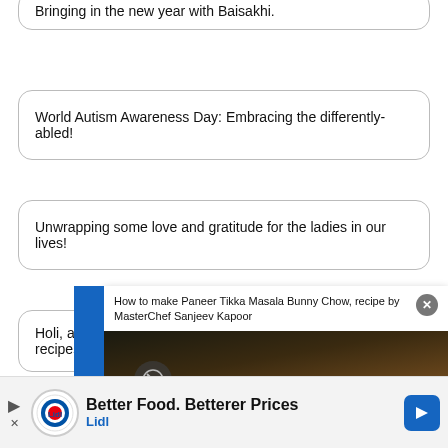Bringing in the new year with Baisakhi.
World Autism Awareness Day: Embracing the differently-abled!
Unwrapping some love and gratitude for the ladies in our lives!
Holi, aur bhi rangeen with these recipes
It's flippin' Pancake D…
Cupid loves more tha…
[Figure (screenshot): Featured Recipes overlay with food photo of Paneer Tikka Masala Bunny Chow by MasterChef Sanjeev Kapoor]
Flav…
Better Food. Betterer Prices Lidl